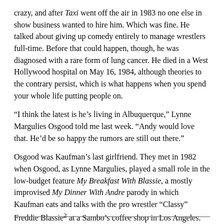crazy, and after Taxi went off the air in 1983 no one else in show business wanted to hire him. Which was fine. He talked about giving up comedy entirely to manage wrestlers full-time. Before that could happen, though, he was diagnosed with a rare form of lung cancer. He died in a West Hollywood hospital on May 16, 1984, although theories to the contrary persist, which is what happens when you spend your whole life putting people on.
“I think the latest is he’s living in Albuquerque,” Lynne Margulies Osgood told me last week. “Andy would love that. He’d be so happy the rumors are still out there.”
Osgood was Kaufman’s last girlfriend. They met in 1982 when Osgood, as Lynne Margulies, played a small role in the low-budget feature My Breakfast With Blassie, a mostly improvised My Dinner With Andre parody in which Kaufman eats and talks with the pro wrestler “Classy” Freddie Blassie² at a Sambo’s coffee shop in Los Angeles.